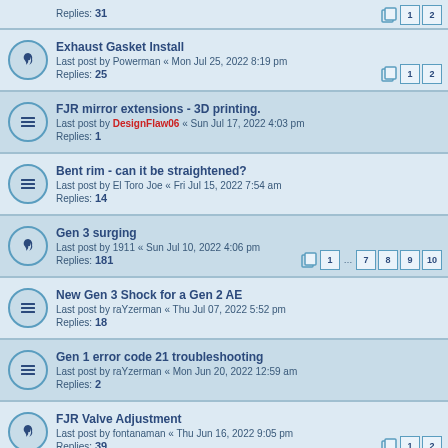Replies: 31 [pagination 1 2]
Exhaust Gasket Install
Last post by Powerman « Mon Jul 25, 2022 8:19 pm
Replies: 25 [pagination 1 2]
FJR mirror extensions - 3D printing.
Last post by DesignFlaw06 « Sun Jul 17, 2022 4:03 pm
Replies: 1
Bent rim - can it be straightened?
Last post by El Toro Joe « Fri Jul 15, 2022 7:54 am
Replies: 14
Gen 3 surging
Last post by 1911 « Sun Jul 10, 2022 4:06 pm
Replies: 181 [pagination 1 ... 7 8 9 10]
New Gen 3 Shock for a Gen 2 AE
Last post by raYzerman « Thu Jul 07, 2022 5:52 pm
Replies: 18
Gen 1 error code 21 troubleshooting
Last post by raYzerman « Mon Jun 20, 2022 12:59 am
Replies: 2
FJR Valve Adjustment
Last post by fontanaman « Thu Jun 16, 2022 9:05 pm
Replies: 39 [pagination 1 2]
*FIXED* fuel filler lock stuck/frozen
Last post by Panman « Tue May 10, 2022 9:07 pm
Replies: 6